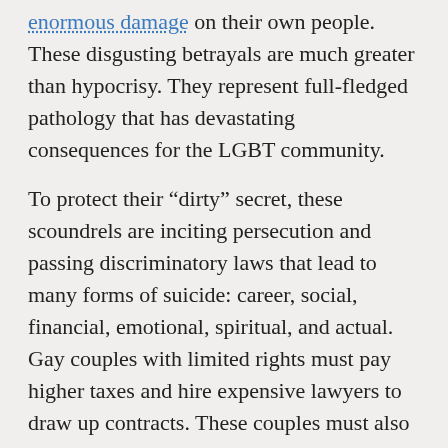enormous damage on their own people. These disgusting betrayals are much greater than hypocrisy. They represent full-fledged pathology that has devastating consequences for the LGBT community.
To protect their "dirty" secret, these scoundrels are inciting persecution and passing discriminatory laws that lead to many forms of suicide: career, social, financial, emotional, spiritual, and actual.  Gay couples with limited rights must pay higher taxes and hire expensive lawyers to draw up contracts. These couples must also endure the emotionally devastating prospect of not having hospital visitation rights when emergencies strike. Careers are irreversibly harmed when homosexuals hit glass ceilings or they are fired in states that offer no legal protections. And, we lose young people every day who hear homophobic rhetoric coming from elected politicians or those...